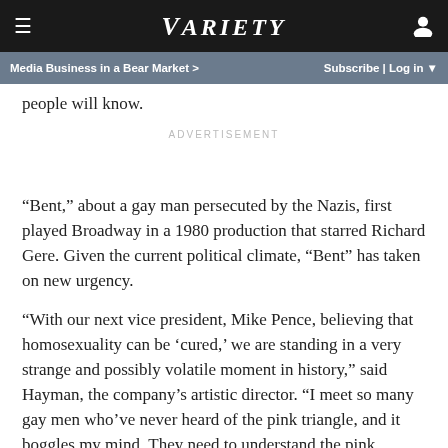VARIETY
Media Business in a Bear Market > Subscribe | Log in
people will know.
ADVERTISEMENT
“Bent,” about a gay man persecuted by the Nazis, first played Broadway in a 1980 production that starred Richard Gere. Given the current political climate, “Bent” has taken on new urgency.
“With our next vice president, Mike Pence, believing that homosexuality can be ‘cured,’ we are standing in a very strange and possibly volatile moment in history,” said Hayman, the company’s artistic director. “I meet so many gay men who’ve never heard of the pink triangle, and it boggles my mind. They need to understand the pink triangle story.